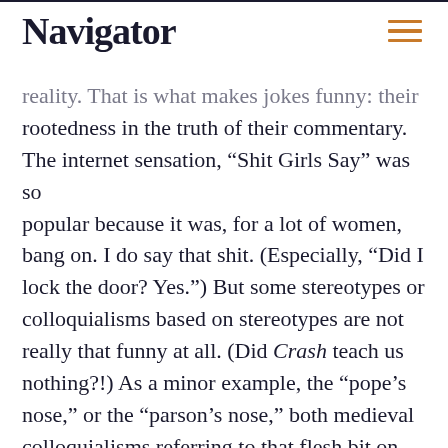Navigator
reality. That is what makes jokes funny: their rootedness in the truth of their commentary. The internet sensation, “Shit Girls Say” was so popular because it was, for a lot of women, bang on. I do say that shit. (Especially, “Did I lock the door? Yes.”) But some stereotypes or colloquialisms based on stereotypes are not really that funny at all. (Did Crash teach us nothing?!) As a minor example, the “pope’s nose,” or the “parson’s nose,” both medieval colloquialisms referring to that flesh bit on chicken’s butts where their tail feathers insert into the skin. Ostensibly, someone was carving a turkey one evening and as they went to carve